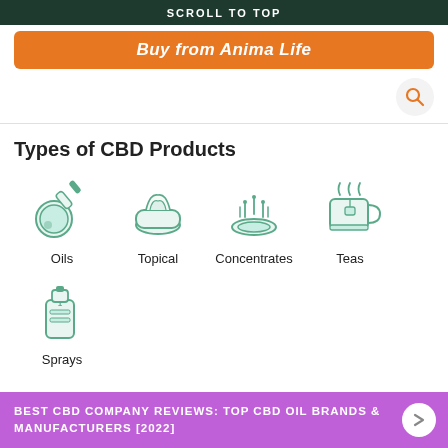SCROLL TO TOP
Buy from Anima Life
[Figure (infographic): Types of CBD Products infographic with icons: Oils (dropper icon), Topical (cream jar icon), Concentrates (dish with vapor icon), Teas (mug with steam icon), Sprays (spray bottle icon)]
Types of CBD Products
BEST CBD COMPANY REVIEWS: TOP CBD OIL BRANDS & MANUFACTURERS [2022]